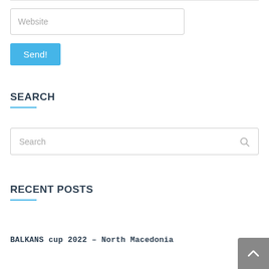Website
Send!
SEARCH
Search
RECENT POSTS
BALKANS cup 2022 – North Macedonia